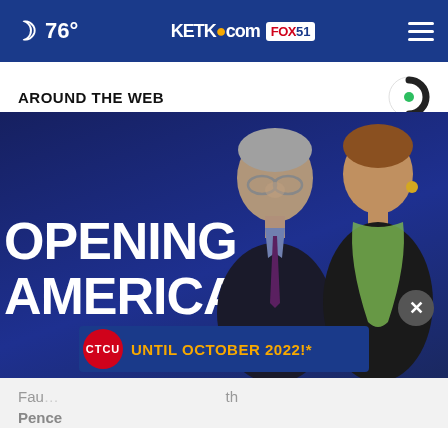🌙 76° | KETK.com FOX51
AROUND THE WEB
[Figure (photo): Two people standing in front of a dark blue background with white text reading OPENING AMERICA. A man with glasses wearing a suit is in the center, a woman is to his right wearing a scarf. An advertisement banner at the bottom reads UNTIL OCTOBER 2022!* with CTCU logo.]
Fauci ... Pence